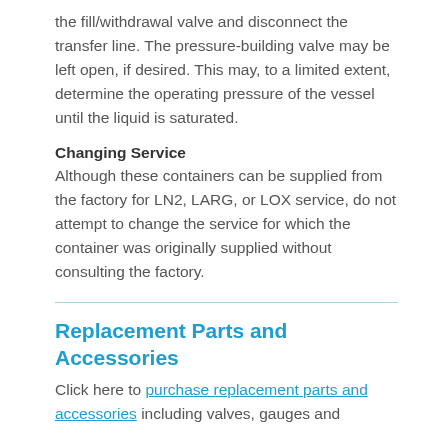the fill/withdrawal valve and disconnect the transfer line. The pressure-building valve may be left open, if desired. This may, to a limited extent, determine the operating pressure of the vessel until the liquid is saturated.
Changing Service
Although these containers can be supplied from the factory for LN2, LARG, or LOX service, do not attempt to change the service for which the container was originally supplied without consulting the factory.
Replacement Parts and Accessories
Click here to purchase replacement parts and accessories including valves, gauges and